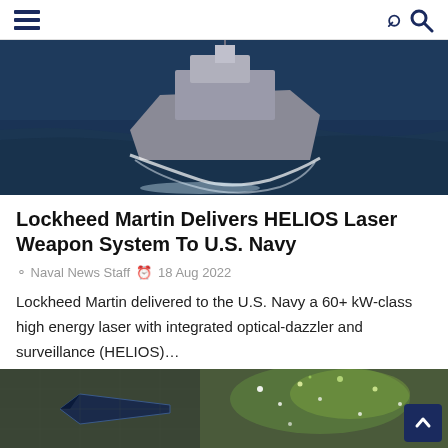Naval News (hamburger menu and search icon)
[Figure (photo): Aerial view of a U.S. Navy destroyer ship underway on dark blue ocean water, photographed from above at an angle showing the bow and superstructure.]
Lockheed Martin Delivers HELIOS Laser Weapon System To U.S. Navy
Naval News Staff  18 Aug 2022
Lockheed Martin delivered to the U.S. Navy a 60+ kW-class high energy laser with integrated optical-dazzler and surveillance (HELIOS)…
[Figure (photo): Close-up photo of what appears to be a laser weapon or directed energy system firing, with bright light particles and glowing effects visible.]